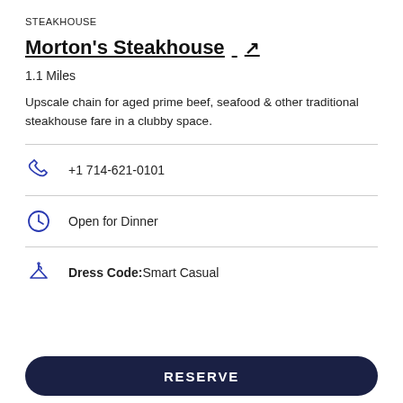STEAKHOUSE
Morton's Steakhouse ↗
1.1 Miles
Upscale chain for aged prime beef, seafood & other traditional steakhouse fare in a clubby space.
+1 714-621-0101
Open for Dinner
Dress Code:Smart Casual
RESERVE